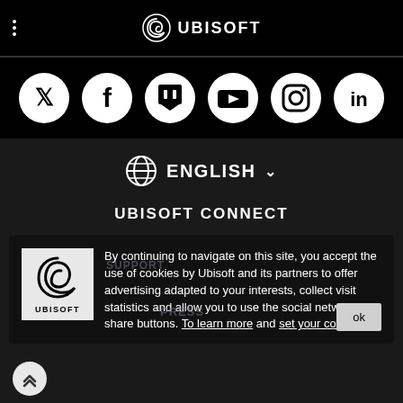UBISOFT
[Figure (infographic): Social media icons row: Twitter, Facebook, Twitch, YouTube, Instagram, LinkedIn — white icons on black circular backgrounds]
[Figure (infographic): Globe icon with language selector showing ENGLISH with dropdown chevron]
UBISOFT CONNECT
By continuing to navigate on this site, you accept the use of cookies by Ubisoft and its partners to offer advertising adapted to your interests, collect visit statistics and allow you to use the social network share buttons. To learn more and set your cookies.